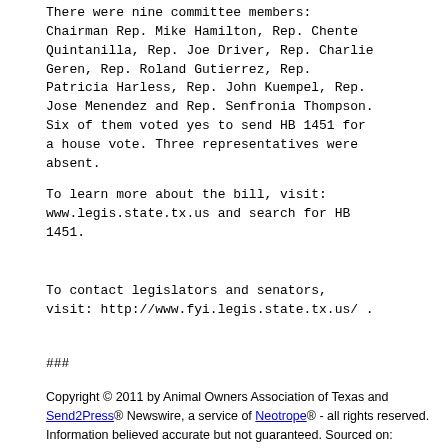There were nine committee members: Chairman Rep. Mike Hamilton, Rep. Chente Quintanilla, Rep. Joe Driver, Rep. Charlie Geren, Rep. Roland Gutierrez, Rep. Patricia Harless, Rep. John Kuempel, Rep. Jose Menendez and Rep. Senfronia Thompson. Six of them voted yes to send HB 1451 for a house vote. Three representatives were absent.
To learn more about the bill, visit: www.legis.state.tx.us and search for HB 1451.
To contact legislators and senators, visit: http://www.fyi.legis.state.tx.us/ .
###
Copyright © 2011 by Animal Owners Association of Texas and Send2Press® Newswire, a service of Neotrope® - all rights reserved. Information believed accurate but not guaranteed. Sourced on: freeNewsArticles.com